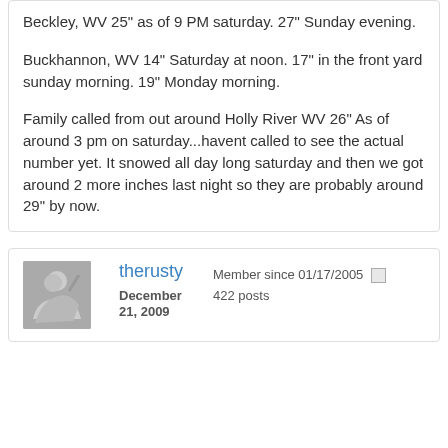Beckley, WV 25" as of 9 PM saturday. 27" Sunday evening.

Buckhannon, WV 14" Saturday at noon. 17" in the front yard sunday morning. 19" Monday morning.

Family called from out around Holly River WV 26" As of around 3 pm on saturday...havent called to see the actual number yet. It snowed all day long saturday and then we got around 2 more inches last night so they are probably around 29" by now.
therusty
December 21, 2009
Member since 01/17/2005
422 posts